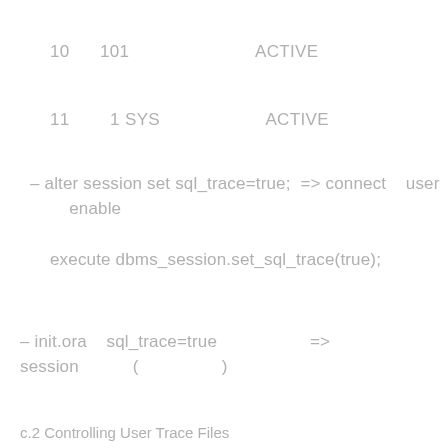10      101                          ACTIVE
11        1 SYS                      ACTIVE
– alter session set sql_trace=true;  => connect    user enable
execute dbms_session.set_sql_trace(true);
– init.ora     sql_trace=true                   => session              (                  )
c.2 Controlling User Trace Files